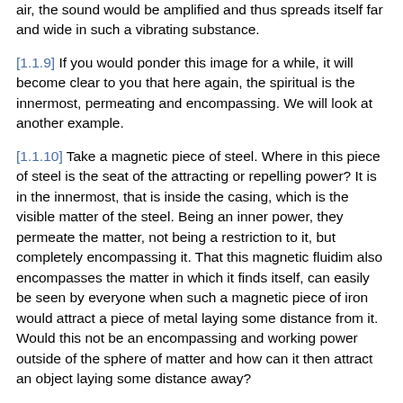sensitive substance, for instance, pure electrically charged air, the sound would be amplified and thus spreads itself far and wide in such a vibrating substance.
[1.1.9] If you would ponder this image for a while, it will become clear to you that here again, the spiritual is the innermost, permeating and encompassing. We will look at another example.
[1.1.10] Take a magnetic piece of steel. Where in this piece of steel is the seat of the attracting or repelling power? It is in the innermost, that is inside the casing, which is the visible matter of the steel. Being an inner power, they permeate the matter, not being a restriction to it, but completely encompassing it. That this magnetic fluidim also encompasses the matter in which it finds itself, can easily be seen by everyone when such a magnetic piece of iron would attract a piece of metal laying some distance from it. Would this not be an encompassing and working power outside of the sphere of matter and how can it then attract an object laying some distance away?